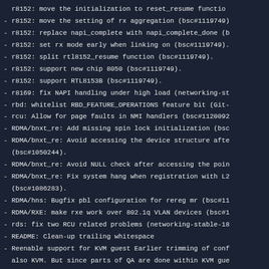r8152: move the initialization to reset_resume function
- r8152: move the setting of rx aggregation (bsc#1119749)
- r8152: replace napi_complete with napi_complete_done (b
- r8152: set rx mode early when linking on (bsc#1119749).
- r8152: split rtl8152_resume function (bsc#1119749).
- r8152: support new chip 8050 (bsc#1119749).
- r8152: support RTL8153B (bsc#1119749).
- r8169: fix NAPI handling under high load (networking-st
- rbd: whitelist RBD_FEATURE_OPERATIONS feature bit (Git-
- rcu: Allow for page faults in NMI handlers (bsc#1120092
- RDMA/bnxt_re: Add missing spin lock initialization (bsc
- RDMA/bnxt_re: Avoid accessing the device structure afte
  (bsc#1050244).
- RDMA/bnxt_re: Avoid NULL check after accessing the poin
- RDMA/bnxt_re: Fix system hang when registration with L2
  (bsc#1086283).
- RDMA/hns: Bugfix pbl configuration for rereg mr (bsc#11
- RDMA/RXE: make rxe work over 802.1q VLAN devices (bsc#1
- rds: fix two RCU related problems (networking-stable-18
- README: Clean-up trailing whitespace
- Reenable support for KVM guest Earlier trimming of conf
  also KVM. But since parts of QA are done within KVM gue
  must be able to run within such guest type.
- remoteproc: qcom: Fix potential device node leaks (bsc#
- reset: hisilicon: fix potential NULL pointer dereferencd
- reset: imx7: Fix always writing bits as 0 (bsc#1051510)
- reset: remove remaining WARN_ON() in <linux/reset.h>
- Revert "ceph: fix dentry leak in splice_dentry()" (bsc#
- Revert commit ef9209b642f "staging: rtl8723bs: Fix inde
  an off-by-one mistake in core/rtw_mlme_ext.c" (bsc#1051
- Revert "iommu/io-pgtable-arm: Check for v7s-incapable s
  (bsc#1106105).
- Revert "PCI/ASPM: Do not initialize link state when ass